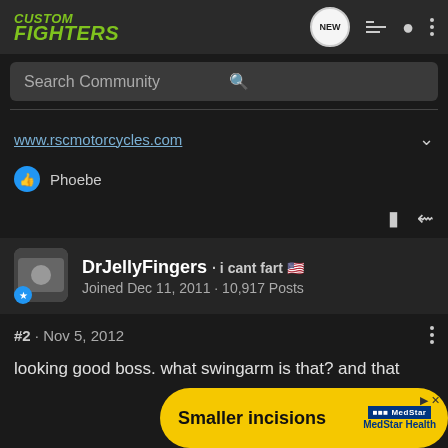CUSTOM FIGHTERS
Search Community
www.rscmotorcycles.com
Phoebe
DrJellyFingers · i cant fart 🇺🇸
Joined Dec 11, 2011 · 10,917 Posts
#2 · Nov 5, 2012
looking good boss. what swingarm is that? and that exhaust is gonna lo
[Figure (screenshot): Advertisement banner: yellow pill-shaped banner reading 'Smaller incisions' with MedStar Health logo]